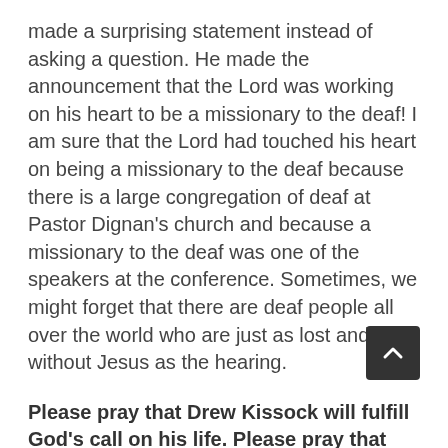made a surprising statement instead of asking a question. He made the announcement that the Lord was working on his heart to be a missionary to the deaf! I am sure that the Lord had touched his heart on being a missionary to the deaf because there is a large congregation of deaf at Pastor Dignan's church and because a missionary to the deaf was one of the speakers at the conference. Sometimes, we might forget that there are deaf people all over the world who are just as lost and without Jesus as the hearing.
Please pray that Drew Kissock will fulfill God's call on his life. Please pray that God will continue to help my family and me to be a blessing and a help to every church that we go to.